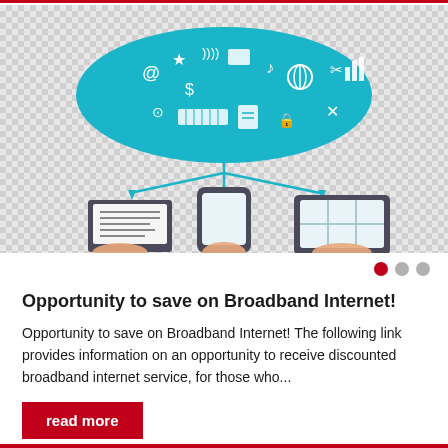[Figure (illustration): Cloud computing illustration showing a teal cloud filled with internet/media icons (email, music, video, games, etc.) connected by lines to three devices: a laptop with hands typing, a smartphone being held, and a tablet being touched — on a checkered background.]
Opportunity to save on Broadband Internet!
Opportunity to save on Broadband Internet! The following link provides information on an opportunity to receive discounted broadband internet service, for those who...
read more